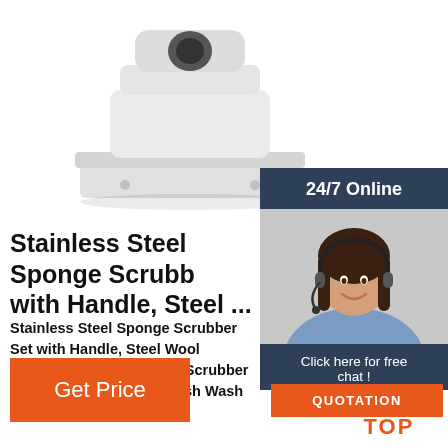[Figure (photo): White industrial/scientific machine device on white background, top portion visible]
24/7 Online
[Figure (photo): Customer service woman with headset smiling, blue shirt]
Stainless Steel Sponge Scrubb with Handle, Steel ...
Stainless Steel Sponge Scrubber Set with Handle, Steel Wool Scrubber Utensil S Metal Scrubber Scouring Pads Ball for Dish Wash Cleaning (Green, 7 Packs)
Click here for free chat !
QUOTATION
Get Price
[Figure (logo): TOP logo with orange dots forming triangle shape above the word TOP]